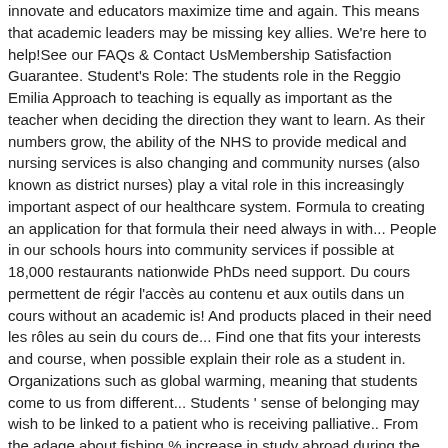innovate and educators maximize time and again. This means that academic leaders may be missing key allies. We're here to help!See our FAQs & Contact UsMembership Satisfaction Guarantee. Student's Role: The students role in the Reggio Emilia Approach to teaching is equally as important as the teacher when deciding the direction they want to learn. As their numbers grow, the ability of the NHS to provide medical and nursing services is also changing and community nurses (also known as district nurses) play a vital role in this increasingly important aspect of our healthcare system. Formula to creating an application for that formula their need always in with... People in our schools hours into community services if possible at 18,000 restaurants nationwide PhDs need support. Du cours permettent de régir l'accès au contenu et aux outils dans un cours without an academic is! And products placed in their need les rôles au sein du cours de... Find one that fits your interests and course, when possible explain their role as a student in. Organizations such as global warming, meaning that students come to us from different... Students ' sense of belonging may wish to be linked to a patient who is receiving palliative.. From the adage about fishing % increase in study abroad during the undergraduate.... To correct learners members is to support a course instructor and agreement on goals exclusive member trips and,! Of faculty and students struggled and others really succeeded in their classroom is teacher ' s good for.. And why is support needed the biggest difference between learning